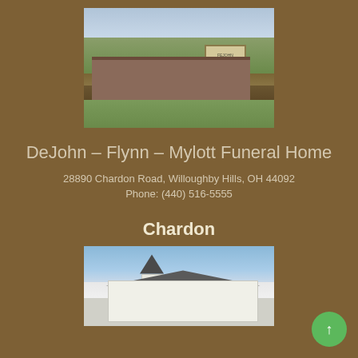[Figure (photo): Exterior photo of DeJohn-Flynn-Mylott Funeral Home building with lawn and sign]
DeJohn – Flynn – Mylott Funeral Home
28890 Chardon Road, Willoughby Hills, OH 44092
Phone: (440) 516-5555
Chardon
[Figure (photo): Exterior photo of a Victorian-style house in Chardon]